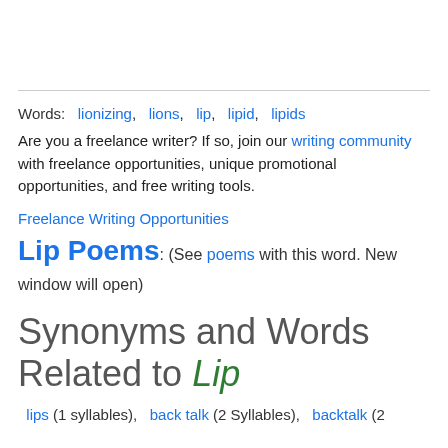Words: lionizing, lions, lip, lipid, lipids
Are you a freelance writer? If so, join our writing community with freelance opportunities, unique promotional opportunities, and free writing tools.
Freelance Writing Opportunities
Lip Poems: (See poems with this word. New window will open)
Synonyms and Words Related to Lip
lips (1 syllables), back talk (2 Syllables), backtalk (2